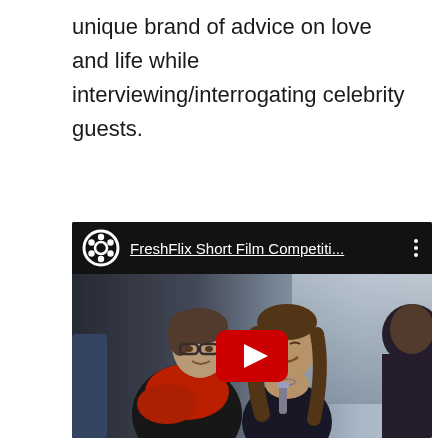unique brand of advice on love and life while interviewing/interrogating celebrity guests.
[Figure (screenshot): YouTube video embed showing FreshFlix Short Film Competiti... with a film reel icon in the top-left corner and a red play button overlay. The video thumbnail shows people seated at a panel discussion, including a woman with glasses wearing a red scarf and another woman holding a microphone.]